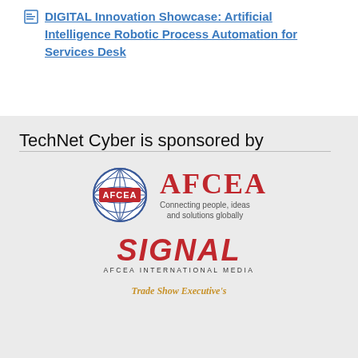DIGITAL Innovation Showcase: Artificial Intelligence Robotic Process Automation for Services Desk
TechNet Cyber is sponsored by
[Figure (logo): AFCEA globe logo with 'AFCEA' in red serif letters and tagline 'Connecting people, ideas and solutions globally']
[Figure (logo): SIGNAL magazine logo in bold red italic letters with 'AFCEA INTERNATIONAL MEDIA' subtitle]
Trade Show Executive's